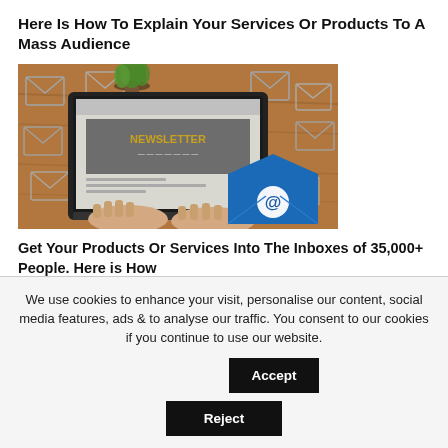Here Is How To Explain Your Services Or Products To A Mass Audience
[Figure (photo): Person typing on a laptop with a newsletter website on screen, surrounded by email envelope icons, and a blue email icon with @ symbol in the foreground on a wooden desk]
Get Your Products Or Services Into The Inboxes of 35,000+ People. Here is How
We use cookies to enhance your visit, personalise our content, social media features, ads & to analyse our traffic. You consent to our cookies if you continue to use our website.